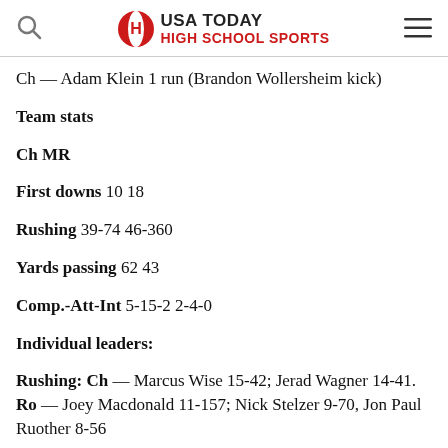USA TODAY HIGH SCHOOL SPORTS
Ch — Adam Klein 1 run (Brandon Wollersheim kick)
Team stats
Ch MR
First downs 10 18
Rushing 39-74 46-360
Yards passing 62 43
Comp.-Att-Int 5-15-2 2-4-0
Individual leaders:
Rushing: Ch — Marcus Wise 15-42; Jerad Wagner 14-41. Ro — Joey Macdonald 11-157; Nick Stelzer 9-70, Jon Paul Ruother 8-56